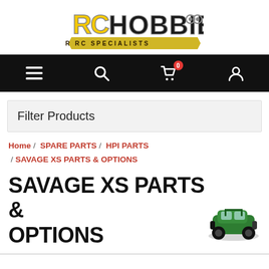[Figure (logo): RC Hobbies logo — 'RC' in stylized yellow/grey letters, 'HOBBIES' in large dark letters with grey border, subtitle 'YOUR RC SPECIALISTS' on gold ribbon banner]
[Figure (screenshot): Black navigation bar with hamburger menu icon, search icon, shopping cart icon with red badge showing 0, and user account icon]
Filter Products
Home / SPARE PARTS / HPI PARTS / SAVAGE XS PARTS & OPTIONS
SAVAGE XS PARTS & OPTIONS
[Figure (photo): Green RC monster truck toy — HPI Savage XS model viewed from front-right angle]